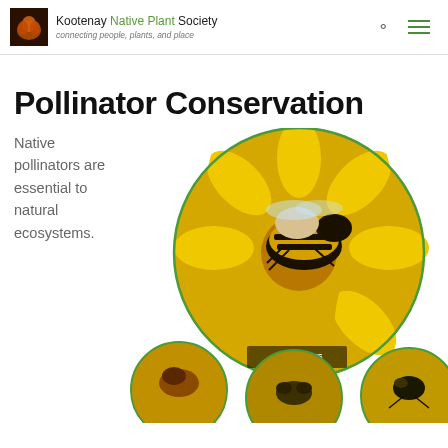Kootenay Native Plant Society — connecting people, plants, and place
Pollinator Conservation
Native pollinators are essential to natural ecosystems.
[Figure (photo): Composite image showing multiple circular photos of pollinators including a large bumblebee on a yellow flower labeled 'BUMBLE BEES AND WASPS', and smaller circular images of other bee species on yellow flowers below.]